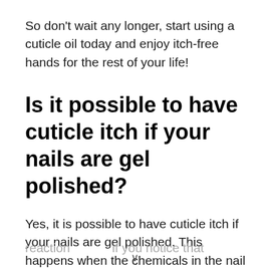So don't wait any longer, start using a cuticle oil today and enjoy itch-free hands for the rest of your life!
Is it possible to have cuticle itch if your nails are gel polished?
Yes, it is possible to have cuticle itch if your nails are gel polished. This happens when the chemicals in the nail polish remover cause a reaction...